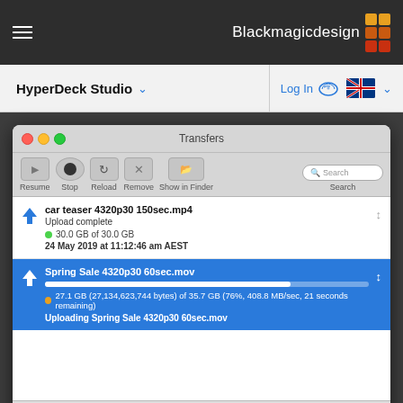Blackmagicdesign
HyperDeck Studio
Log In
[Figure (screenshot): macOS Transfers window showing file upload progress. Two transfer items: 'car teaser 4320p30 150sec.mp4' (Upload complete, 30.0 GB of 30.0 GB, 24 May 2019 at 11:12:46 am AEST) and 'Spring Sale 4320p30 60sec.mov' (selected/active, 27.1 GB (27,134,623,744 bytes) of 35.7 GB (76%, 408.8 MB/sec, 21 seconds remaining), Uploading Spring Sale 4320p30 60sec.mov). Bottom bar shows URL: ftp://10.0.23.10/1/M6%20F...04320p30%2060sec.mov and Local File: ~/Documents/Media/H&B/...Sale 4320p30 60sec.mov]